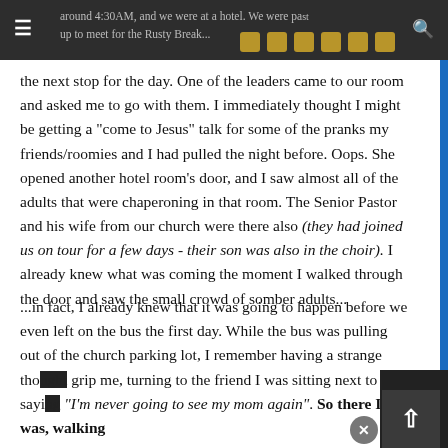around 4:30AM, and we were at a hotel. We were past up to meet for the Rusty Break... [social icons]
the next stop for the day. One of the leaders came to our room and asked me to go with them. I immediately thought I might be getting a "come to Jesus" talk for some of the pranks my friends/roomies and I had pulled the night before. Oops. She opened another hotel room's door, and I saw almost all of the adults that were chaperoning in that room. The Senior Pastor and his wife from our church were there also (they had joined us on tour for a few days - their son was also in the choir). I already knew what was coming the moment I walked through the door and saw the small crowd of somber adults...
...in fact, I already knew that it was going to happen before we even left on the bus the first day. While the bus was pulling out of the church parking lot, I remember having a strange tho[ught] grip me, turning to the friend I was sitting next to and sayi[ng] "I'm never going to see my mom again". So there I was, walking